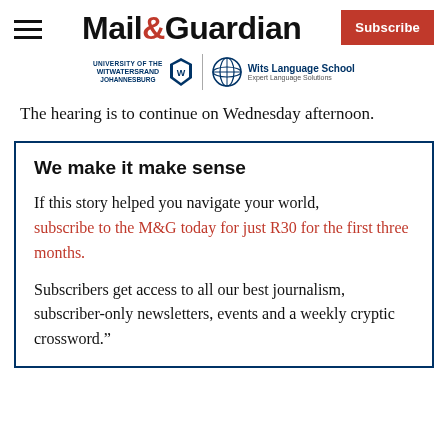Mail & Guardian — Subscribe
[Figure (logo): University of the Witwatersrand Johannesburg and Wits Language School logos]
The hearing is to continue on Wednesday afternoon.
We make it make sense
If this story helped you navigate your world, subscribe to the M&G today for just R30 for the first three months.
Subscribers get access to all our best journalism, subscriber-only newsletters, events and a weekly cryptic crossword.”